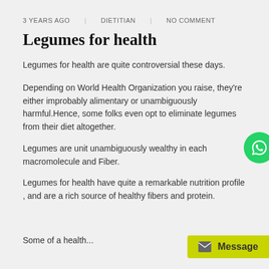3 YEARS AGO   DIETITIAN   NO COMMENT
Legumes for health
Legumes for health are quite controversial these days.
Depending on World Health Organization you raise, they're either improbably alimentary or unambiguously harmful.Hence, some folks even opt to eliminate legumes from their diet altogether.
Legumes are unit unambiguously wealthy in each macromolecule and Fiber.
Legumes for health have quite a remarkable nutrition profile , and are a rich source of healthy fibers and protein.
Some of a health...